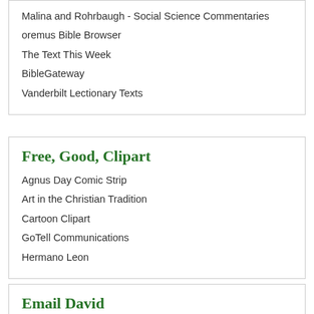Malina and Rohrbaugh - Social Science Commentaries
oremus Bible Browser
The Text This Week
BibleGateway
Vanderbilt Lectionary Texts
Free, Good, Clipart
Agnus Day Comic Strip
Art in the Christian Tradition
Cartoon Clipart
GoTell Communications
Hermano Leon
Email David